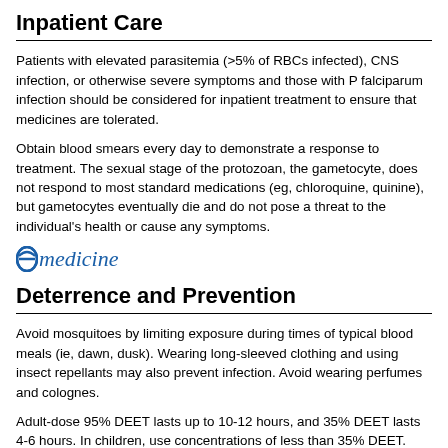Inpatient Care
Patients with elevated parasitemia (>5% of RBCs infected), CNS infection, or otherwise severe symptoms and those with P falciparum infection should be considered for inpatient treatment to ensure that medicines are tolerated.
Obtain blood smears every day to demonstrate a response to treatment. The sexual stage of the protozoan, the gametocyte, does not respond to most standard medications (eg, chloroquine, quinine), but gametocytes eventually die and do not pose a threat to the individual's health or cause any symptoms.
[Figure (logo): eMedicine logo with stylized 'e' in blue and italic text 'medicine']
Deterrence and Prevention
Avoid mosquitoes by limiting exposure during times of typical blood meals (ie, dawn, dusk). Wearing long-sleeved clothing and using insect repellants may also prevent infection. Avoid wearing perfumes and colognes.
Adult-dose 95% DEET lasts up to 10-12 hours, and 35% DEET lasts 4-6 hours. In children, use concentrations of less than 35% DEET. Use sparingly and only on exposed skin. Remove DEET when the skin is no longer exposed to potential mosquito bite. Consider using bed nets that are treated with the insecticide permethrin. While this is an effective method for prevention of malaria transmission in endemic areas, an increasing incidence of pyrethroid resistance in Anopheles spp has been reported.[9] Seek out medical attention immediately upon contracting any tropical fever or flulike illness.